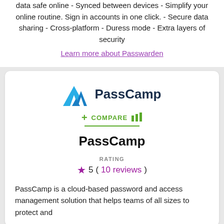data safe online - Synced between devices - Simplify your online routine. Sign in accounts in one click. - Secure data sharing - Cross-platform - Duress mode - Extra layers of security
Learn more about Passwarden
[Figure (logo): PassCamp logo: blue mountain/tent icon with 'PassCamp' text in dark navy bold font]
+ COMPARE (bar chart icon)
PassCamp
RATING
★ 5 ( 10 reviews )
PassCamp is a cloud-based password and access management solution that helps teams of all sizes to protect and